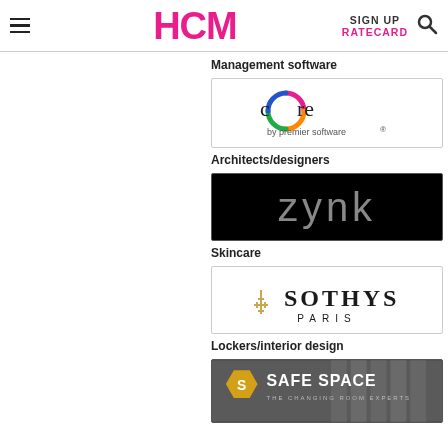HCM | SIGN UP | RATECARD
Management software
[Figure (logo): Core by Premier Software logo — colourful circular icon with 'core' text and 'by premier software®' below]
Architects/designers
[Figure (logo): Zynk logo — lowercase grey 'zynk' text on black background]
Skincare
[Figure (logo): Sothys Paris logo — gold figurine icon with 'SOTHYS PARIS' text on white background]
Lockers/interior design
[Figure (logo): Safe Space logo — hexagonal yellow-gold icon with 'SAFE SPACE THE CHANGING ROOM EXPERTS' on dark background with lockers]